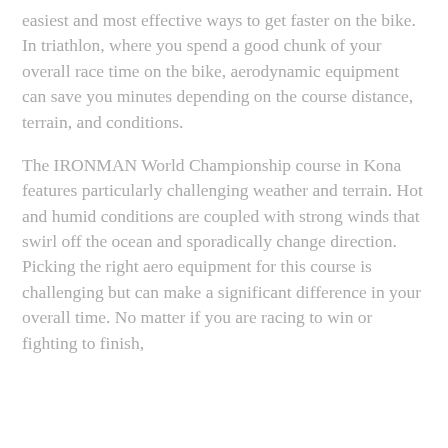easiest and most effective ways to get faster on the bike. In triathlon, where you spend a good chunk of your overall race time on the bike, aerodynamic equipment can save you minutes depending on the course distance, terrain, and conditions.
The IRONMAN World Championship course in Kona features particularly challenging weather and terrain. Hot and humid conditions are coupled with strong winds that swirl off the ocean and sporadically change direction. Picking the right aero equipment for this course is challenging but can make a significant difference in your overall time. No matter if you are racing to win or fighting to finish,